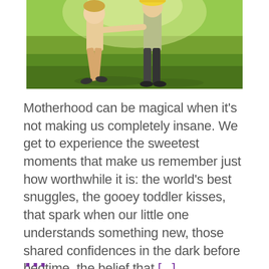[Figure (photo): Two children playing outdoors on bright green grass in sunlight, one wearing a yellow hat]
Motherhood can be magical when it’s not making us completely insane. We get to experience the sweetest moments that make us remember just how worthwhile it is: the world’s best snuggles, the gooey toddler kisses, that spark when our little one understands something new, those shared confidences in the dark before bedtime, the belief that [...]
...